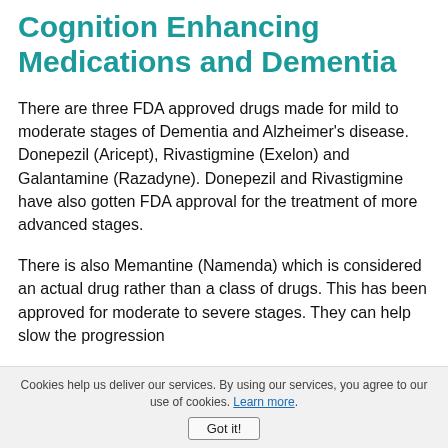Cognition Enhancing Medications and Dementia
There are three FDA approved drugs made for mild to moderate stages of Dementia and Alzheimer's disease. Donepezil (Aricept), Rivastigmine (Exelon) and Galantamine (Razadyne). Donepezil and Rivastigmine have also gotten FDA approval for the treatment of more advanced stages.
There is also Memantine (Namenda) which is considered an actual drug rather than a class of drugs. This has been approved for moderate to severe stages. They can help slow the progression
Cookies help us deliver our services. By using our services, you agree to our use of cookies. Learn more. Got it!